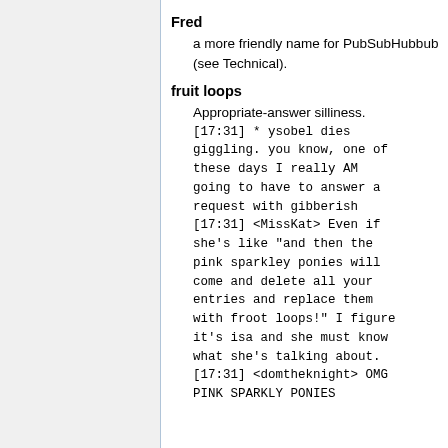Fred
a more friendly name for PubSubHubbub (see Technical).
fruit loops
Appropriate-answer silliness.
[17:31] * ysobel dies giggling. you know, one of these days I really AM going to have to answer a request with gibberish
[17:31] <MissKat> Even if she's like "and then the pink sparkley ponies will come and delete all your entries and replace them with froot loops!" I figure it's isa and she must know what she's talking about.
[17:31] <domtheknight> OMG PINK SPARKLY PONIES